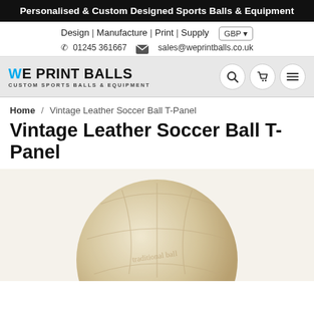Personalised & Custom Designed Sports Balls & Equipment
Design | Manufacture | Print | Supply  GBP ▾
☎ 01245 361667  ✉ sales@weprintballs.co.uk
[Figure (logo): We Print Balls logo with tagline CUSTOM SPORTS BALLS & EQUIPMENT, with search, cart, and menu icon buttons]
Home / Vintage Leather Soccer Ball T-Panel
Vintage Leather Soccer Ball T-Panel
[Figure (photo): Close-up photo of a vintage cream/tan leather soccer ball with T-panel design, partially visible at the bottom of the page]